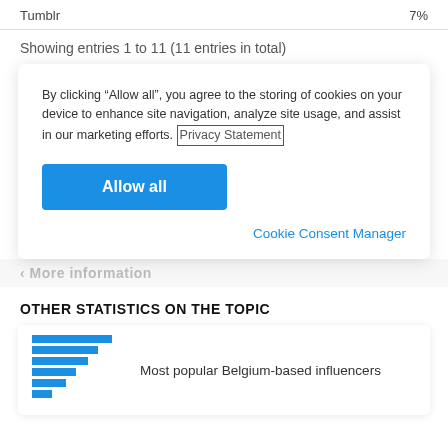Tumblr    7%
Showing entries 1 to 11 (11 entries in total)
By clicking “Allow all”, you agree to the storing of cookies on your device to enhance site navigation, analyze site usage, and assist in our marketing efforts. Privacy Statement
Allow all
Cookie Consent Manager
‹ More information
OTHER STATISTICS ON THE TOPIC
[Figure (bar-chart): Mini horizontal bar chart thumbnail]
Most popular Belgium-based influencers